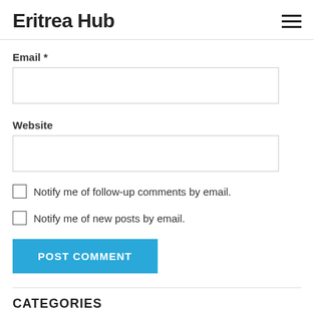Eritrea Hub
Email *
Website
Notify me of follow-up comments by email.
Notify me of new posts by email.
POST COMMENT
CATEGORIES